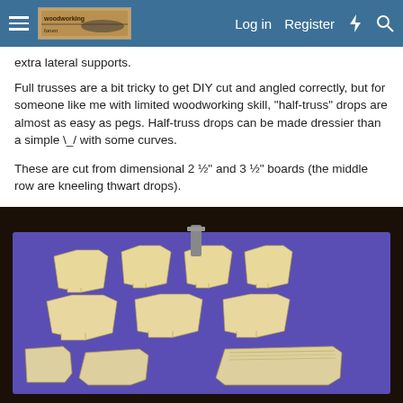Log in  Register
extra lateral supports.
Full trusses are a bit tricky to get DIY cut and angled correctly, but for someone like me with limited woodworking skill, "half-truss" drops are almost as easy as pegs. Half-truss drops can be made dressier than a simple \_/ with some curves.
These are cut from dimensional 2 ½" and 3 ½" boards (the middle row are kneeling thwart drops).
[Figure (photo): Wooden half-truss drops and kneeling thwart drops laid out on a blue tarp surface. Multiple rows of light-colored wooden pieces shaped with angled and curved cuts are visible.]